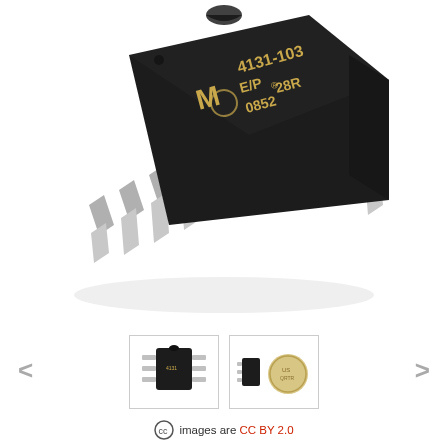[Figure (photo): Close-up photograph of a Microchip Technology DIP-8 IC chip (marked '4131-103 E/P® 28R 0852') with 8 silver metal through-hole pins, shown in isometric perspective view on white background.]
[Figure (photo): Thumbnail of the same DIP-8 IC chip in upright position.]
[Figure (photo): Thumbnail of the IC chip placed next to a US quarter coin for size reference.]
images are CC BY 2.0